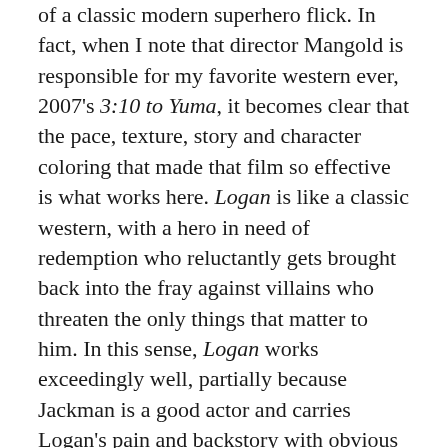of a classic modern superhero flick. In fact, when I note that director Mangold is responsible for my favorite western ever, 2007's 3:10 to Yuma, it becomes clear that the pace, texture, story and character coloring that made that film so effective is what works here. Logan is like a classic western, with a hero in need of redemption who reluctantly gets brought back into the fray against villains who threaten the only things that matter to him. In this sense, Logan works exceedingly well, partially because Jackman is a good actor and carries Logan's pain and backstory with obvious understanding, but also because the structure of the movie allows the audience to come along and become invested in his pursuit.
What doesn't work, however, is that it eventually wears out its welcome and becomes just another tedious superhero movie, with an eyball-rolling amount of violence (be warned: there's a lot and it's graphic) and